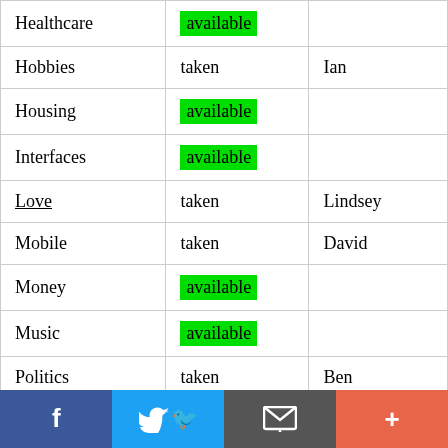| Category | Status | Owner |
| --- | --- | --- |
| Healthcare | available |  |
| Hobbies | taken | Ian |
| Housing | available |  |
| Interfaces | available |  |
| Love | taken | Lindsey |
| Mobile | taken | David |
| Money | available |  |
| Music | available |  |
| Politics | taken | Ben |
| Religion | available |  |
| School | available |  |